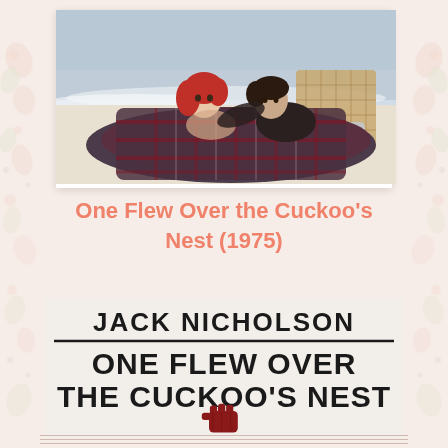[Figure (photo): A couple lying on a beach under a plaid blanket with a wicker headboard behind them, ocean waves in the background]
One Flew Over the Cuckoo's Nest (1975)
[Figure (illustration): Official movie poster for 'One Flew Over the Cuckoo's Nest' featuring 'JACK NICHOLSON' in bold text, a horizontal line, then 'ONE FLEW OVER THE CUCKOO'S NEST' in large bold letters with a red fist/hand icon below]